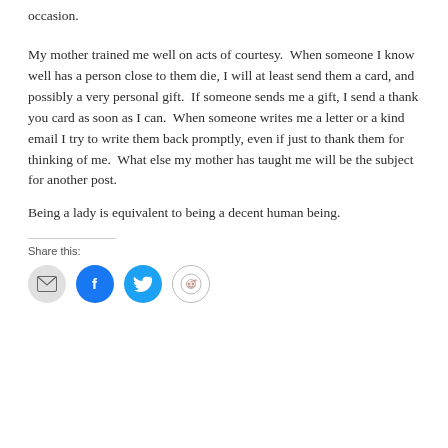occasion.
My mother trained me well on acts of courtesy.  When someone I know well has a person close to them die, I will at least send them a card, and possibly a very personal gift.  If someone sends me a gift, I send a thank you card as soon as I can.  When someone writes me a letter or a kind email I try to write them back promptly, even if just to thank them for thinking of me.  What else my mother has taught me will be the subject for another post.
Being a lady is equivalent to being a decent human being.
Share this: